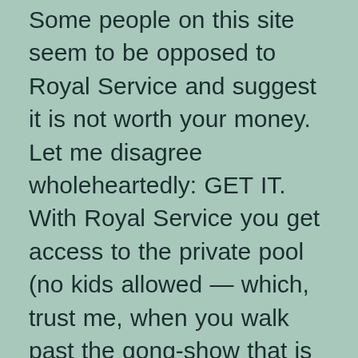Some people on this site seem to be opposed to Royal Service and suggest it is not worth your money. Let me disagree wholeheartedly: GET IT. With Royal Service you get access to the private pool (no kids allowed — which, trust me, when you walk past the gong-show that is the main pool, you'll come to appreciate), you have guaranteed shuttles everywhere (they have Royal Service golf carts that are available exclusively for the RS guests), your rooms are gorgeous and overlooking the garden or pool, and the concierges and butlers bend over backwards to make your life easy. As a shout-out, let me say that Andrey, Ivanna, Ivan and